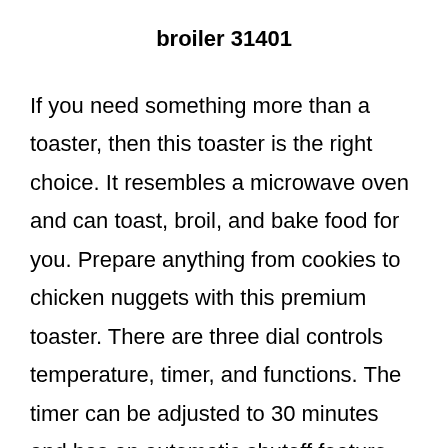broiler 31401
If you need something more than a toaster, then this toaster is the right choice. It resembles a microwave oven and can toast, broil, and bake food for you. Prepare anything from cookies to chicken nuggets with this premium toaster. There are three dial controls temperature, timer, and functions. The timer can be adjusted to 30 minutes and has an automatic shutoff feature.
3. Cuisinart toaster model
Cuisinart toaster model is an authentic product that can reheat, defrost, bagel, and toast your bread. You